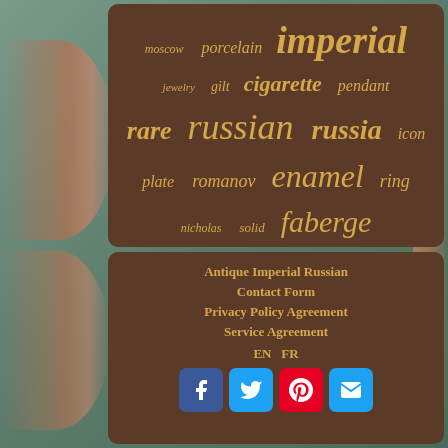[Figure (other): Tag cloud of antique Russian imperial items keywords on dark brown panel: moscow, porcelain, imperial, jewelry, gilt, cigarette, pendant, rare, russian, russia, icon, plate, romanov, enamel, ring, nicholas, solid, faberge]
Antique Imperial Russian
Contact Form
Privacy Policy Agreement
Service Agreement
EN   FR
[Figure (other): Social media icons row: Facebook, Twitter, Pinterest, Email/Mail]